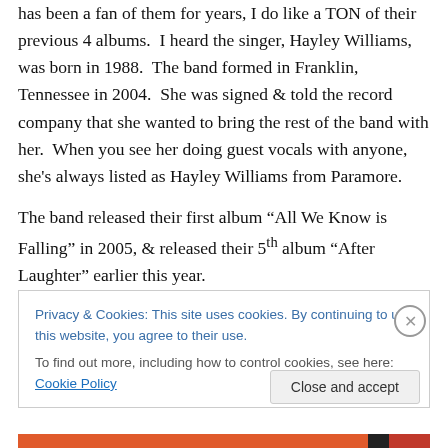has been a fan of them for years, I do like a TON of their previous 4 albums.  I heard the singer, Hayley Williams, was born in 1988.  The band formed in Franklin, Tennessee in 2004.  She was signed & told the record company that she wanted to bring the rest of the band with her.  When you see her doing guest vocals with anyone, she's always listed as Hayley Williams from Paramore.

The band released their first album “All We Know is Falling” in 2005, & released their 5th album “After Laughter” earlier this year.
Privacy & Cookies: This site uses cookies. By continuing to use this website, you agree to their use.
To find out more, including how to control cookies, see here: Cookie Policy
Close and accept